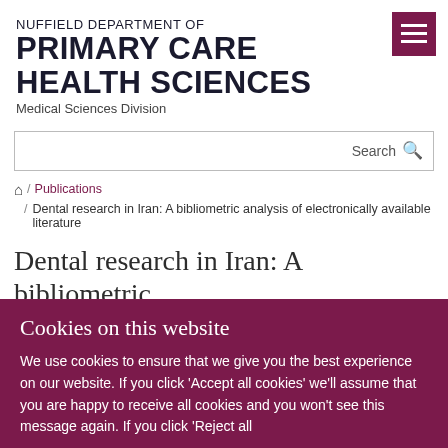NUFFIELD DEPARTMENT OF PRIMARY CARE HEALTH SCIENCES Medical Sciences Division
Search
/ Publications / Dental research in Iran: A bibliometric analysis of electronically available literature
Dental research in Iran: A bibliometric
Cookies on this website
We use cookies to ensure that we give you the best experience on our website. If you click 'Accept all cookies' we'll assume that you are happy to receive all cookies and you won't see this message again. If you click 'Reject all